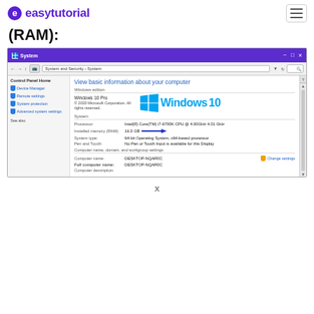easytutorial
(RAM):
[Figure (screenshot): Windows 10 System Properties window showing Control Panel > System and Security > System, with Windows edition (Windows 10 Pro), system info including Installed memory (RAM): 16.0 GB highlighted with blue arrow, Processor: Intel(R) Core(TM) i7-6700K CPU @ 4.00GHz 4.01 GHz, System type: 64-bit Operating System, x64-based processor, Pen and Touch: No Pen or Touch Input is available for this Display, Computer name: DESKTOP-NQAR0C, Full computer name: DESKTOP-NQAR0C]